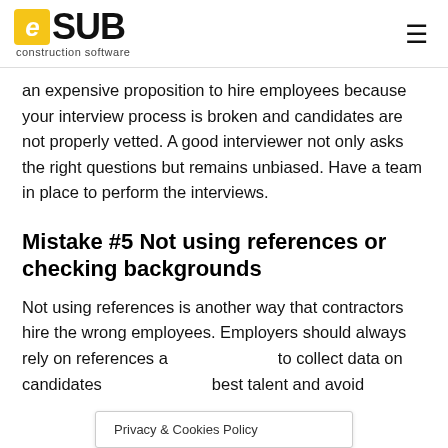eSUB construction software
an expensive proposition to hire employees because your interview process is broken and candidates are not properly vetted. A good interviewer not only asks the right questions but remains unbiased. Have a team in place to perform the interviews.
Mistake #5 Not using references or checking backgrounds
Not using references is another way that contractors hire the wrong employees. Employers should always rely on references a[...] to collect data on candidates[...] best talent and avoid
Privacy & Cookies Policy